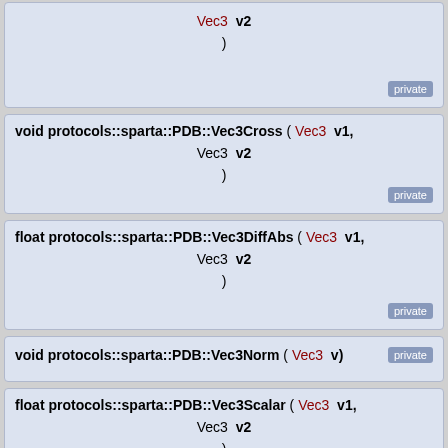Vec3  v2
)
private
void protocols::sparta::PDB::Vec3Cross ( Vec3  v1,
  Vec3  v2
)
private
float protocols::sparta::PDB::Vec3DiffAbs ( Vec3  v1,
  Vec3  v2
)
private
void protocols::sparta::PDB::Vec3Norm ( Vec3  v)
private
float protocols::sparta::PDB::Vec3Scalar ( Vec3  v1,
  Vec3  v2
)
private